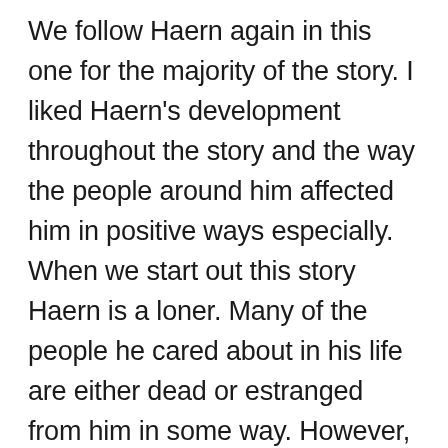We follow Haern again in this one for the majority of the story. I liked Haern's development throughout the story and the way the people around him affected him in positive ways especially. When we start out this story Haern is a loner. Many of the people he cared about in his life are either dead or estranged from him in some way. However, we see Haern be able to reconnect with some old acquaintances and friends and transform into a more well rounded and focused person throughout the story. Although I did enjoy the character development that was there, I do wish that Haern and the other characters had